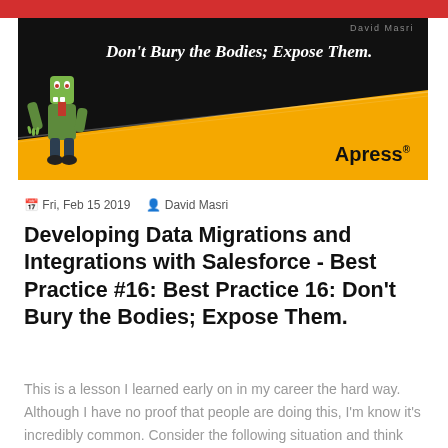[Figure (illustration): Book banner with black background, gold wave, zombie illustration on the left, italic white text 'Don't Bury the Bodies; Expose Them.' and Apress logo at bottom right. Author name 'David Masri' at top right in gray.]
Fri, Feb 15 2019   David Masri
Developing Data Migrations and Integrations with Salesforce - Best Practice #16: Best Practice 16: Don't Bury the Bodies; Expose Them.
This is a lesson I learned early on in my career the hard way. Although I have no proof that people are doing this, I'm know it's incredibly common. Consider the following situation and think about